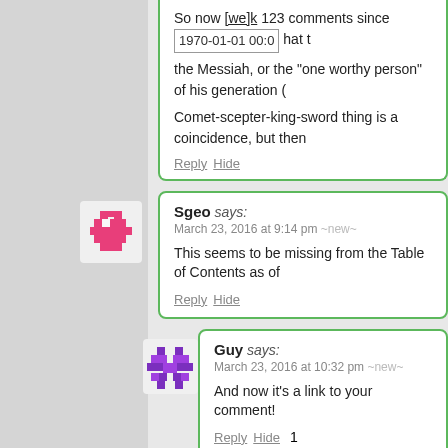So now [we]k 123 comments since 1970-01-01 00:0... the Messiah, or the "one worthy person" of his generation (...) Comet-scepter-king-sword thing is a coincidence, but then...
Reply Hide
Sgeo says:
March 23, 2016 at 9:14 pm ~new~
This seems to be missing from the Table of Contents as of...
Reply Hide
Guy says:
March 23, 2016 at 10:32 pm ~new~
And now it's a link to your comment!
Reply Hide 1
75th says: